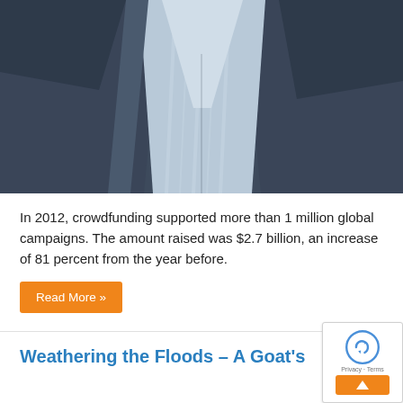[Figure (photo): Close-up photo of a man's torso wearing a dark navy/grey suit jacket over a light blue and white striped dress shirt, no tie visible]
In 2012, crowdfunding supported more than 1 million global campaigns. The amount raised was $2.7 billion, an increase of 81 percent from the year before.
Read More »
Weathering the Floods – A Goat's